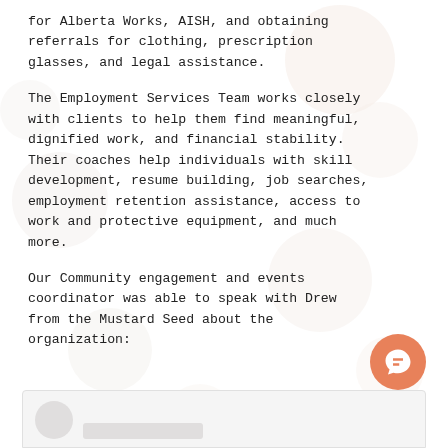for Alberta Works, AISH, and obtaining referrals for clothing, prescription glasses, and legal assistance.
The Employment Services Team works closely with clients to help them find meaningful, dignified work, and financial stability. Their coaches help individuals with skill development, resume building, job searches, employment retention assistance, access to work and protective equipment, and much more.
Our Community engagement and events coordinator was able to speak with Drew from the Mustard Seed about the organization: